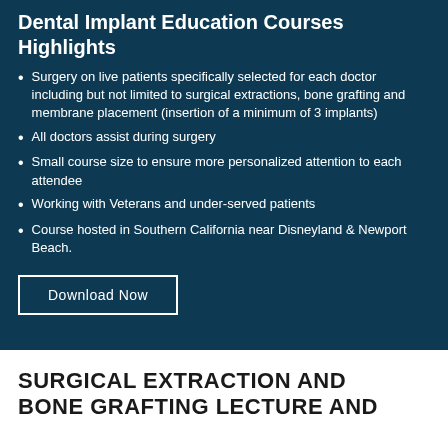Dental Implant Education Courses Highlights
Surgery on live patients specifically selected for each doctor including but not limited to surgical extractions, bone grafting and membrane placement (insertion of a minimum of 3 implants)
All doctors assist during surgery
Small course size to ensure more personalized attention to each attendee
Working with Veterans and under-served patients
Course hosted in Southern California near Disneyland & Newport Beach.
Download Now
SURGICAL EXTRACTION AND BONE GRAFTING LECTURE AND